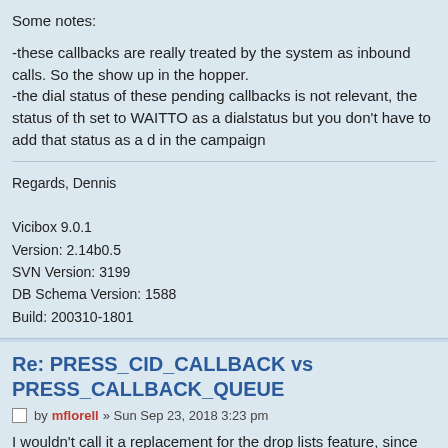Some notes:
-these callbacks are really treated by the system as inbound calls. So the show up in the hopper.
-the dial status of these pending callbacks is not relevant, the status of th set to WAITTO as a dialstatus but you don't have to add that status as a d in the campaign
Regards, Dennis
Vicibox 9.0.1
Version: 2.14b0.5
SVN Version: 3199
DB Schema Version: 1588
Build: 200310-1801
Re: PRESS_CID_CALLBACK vs PRESS_CALLBACK_QUEUE
by mflorell » Sun Sep 23, 2018 3:23 pm
I wouldn't call it a replacement for the drop lists feature, since Callback-Q requires the customer to select that they want to be called back.
There is currently no way to remove callback-queue records once they ha entered, unless the system removes them automatically after their "Callb Queue Expire Hours".